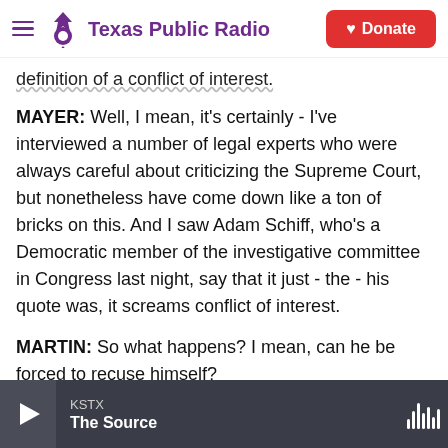[Figure (logo): Texas Public Radio website header with hamburger menu, purple Texas Public Radio logo, and red Donate button]
definition of a conflict of interest.
MAYER: Well, I mean, it's certainly - I've interviewed a number of legal experts who were always careful about criticizing the Supreme Court, but nonetheless have come down like a ton of bricks on this. And I saw Adam Schiff, who's a Democratic member of the investigative committee in Congress last night, say that it just - the - his quote was, it screams conflict of interest.
MARTIN: So what happens? I mean, can he be forced to recuse himself?
KSTX
The Source